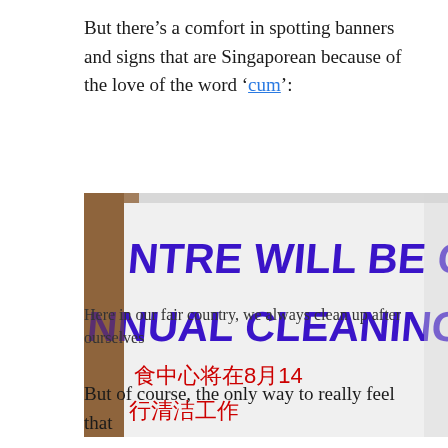But there’s a comfort in spotting banners and signs that are Singaporean because of the love of the word ‘cum’:
[Figure (photo): A banner sign partially visible showing text '...CENTRE WILL BE CLOSED FOR ANNUAL CLEANING CUM 7...' in large purple letters, with Chinese characters in red below, on a white banner background.]
Here in our fair country, we always clean up after ourselves
But of course, the only way to really feel that